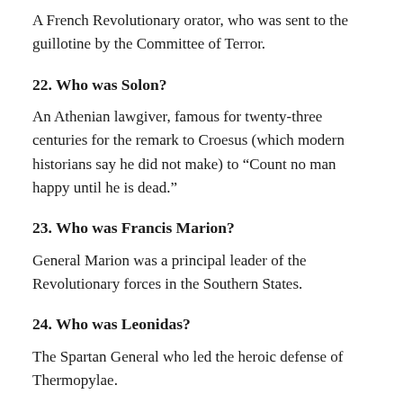A French Revolutionary orator, who was sent to the guillotine by the Committee of Terror.
22. Who was Solon?
An Athenian lawgiver, famous for twenty-three centuries for the remark to Croesus (which modern historians say he did not make) to “Count no man happy until he is dead.”
23. Who was Francis Marion?
General Marion was a principal leader of the Revolutionary forces in the Southern States.
24. Who was Leonidas?
The Spartan General who led the heroic defense of Thermopylae.